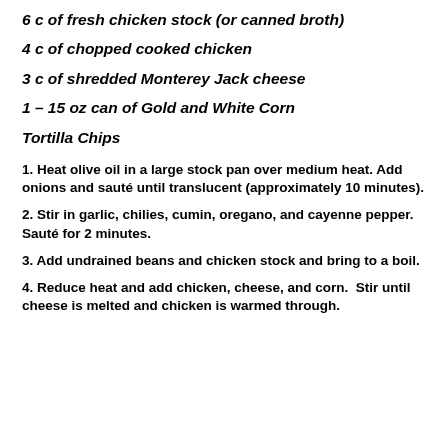6 c of fresh chicken stock (or canned broth)
4 c of chopped cooked chicken
3 c of shredded Monterey Jack cheese
1 – 15 oz can of Gold and White Corn
Tortilla Chips
1. Heat olive oil in a large stock pan over medium heat. Add onions and sauté until translucent (approximately 10 minutes).
2. Stir in garlic, chilies, cumin, oregano, and cayenne pepper. Sauté for 2 minutes.
3. Add undrained beans and chicken stock and bring to a boil.
4. Reduce heat and add chicken, cheese, and corn.  Stir until cheese is melted and chicken is warmed through.